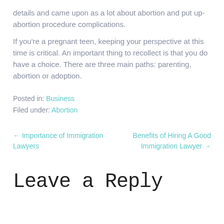details and came upon as a lot about abortion and put up-abortion procedure complications.
If you're a pregnant teen, keeping your perspective at this time is critical. An important thing to recollect is that you do have a choice. There are three main paths: parenting, abortion or adoption.
Posted in: Business
Filed under: Abortion
← Importance of Immigration Lawyers
Benefits of Hiring A Good Immigration Lawyer →
Leave a Reply